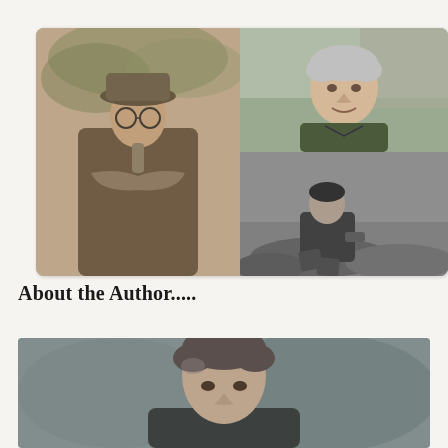[Figure (photo): Three photographs arranged in a card: left side shows a sepia-toned photo of a man in a hat and glasses with arms crossed outdoors; top right shows a color photo of an older man with grey hair smiling outdoors; bottom right shows a black-and-white photo of a young man sitting on rocks outdoors.]
About the Author.....
[Figure (photo): A partial color photo of a man with short dark/grey hair, cropped showing head and upper shoulders, outdoors with blurred background.]